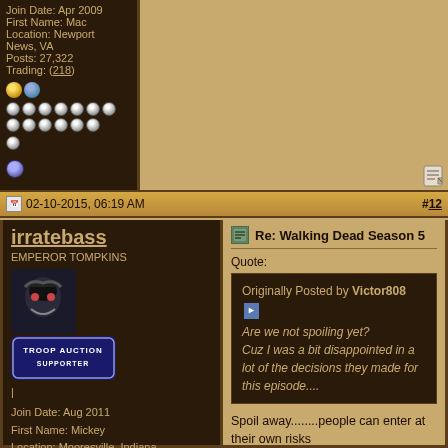Join Date: Apr 2009
First Name: Mac
Location: Newport News, VA
Posts: 27,322
Trading: (218)
02-10-2015, 06:19 AM
#12
irratebass
EMPEROR TOMPKINS
[Figure (illustration): Avatar image of a dark comic book character]
[Figure (illustration): Troop Auction Supporter badge]
Join Date: Aug 2011
First Name: Mickey
Location: Mooresville, Indiana
Posts: 8,313
Trading: (48)
Re: Walking Dead Season 5
Quote:
Originally Posted by Victor808
Are we not spoiling yet?
Cuz I was a bit disappointed in a lot of the decisions they made for this episode....
Spoil away........people can enter at their own risks